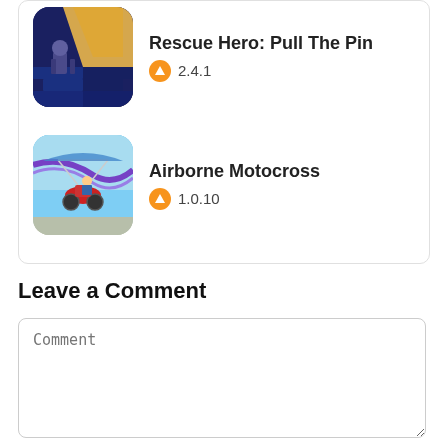[Figure (screenshot): App icon for Rescue Hero: Pull The Pin game — dark blue background with castle bricks and a knight character, orange/yellow diagonal element]
Rescue Hero: Pull The Pin
2.4.1
[Figure (screenshot): App icon for Airborne Motocross game — blue sky background with a motocross bike rider hanging from a hang glider with purple swoosh]
Airborne Motocross
1.0.10
Leave a Comment
Comment
Name
Email